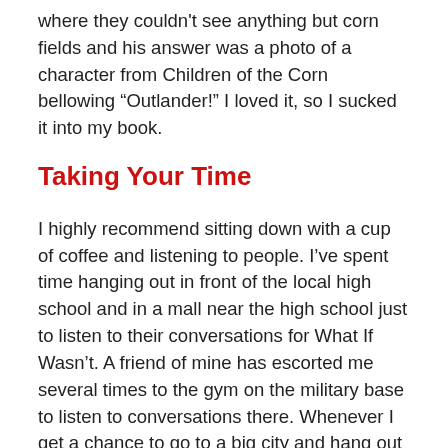where they couldn't see anything but corn fields and his answer was a photo of a character from Children of the Corn bellowing “Outlander!” I loved it, so I sucked it into my book.
Taking Your Time
I highly recommend sitting down with a cup of coffee and listening to people. I’ve spent time hanging out in front of the local high school and in a mall near the high school just to listen to their conversations for What If Wasn’t. A friend of mine has escorted me several times to the gym on the military base to listen to conversations there. Whenever I get a chance to go to a big city and hang out in a real mall, I always hear some phrase I know will be useful for my books, or I observe some behavior I know will